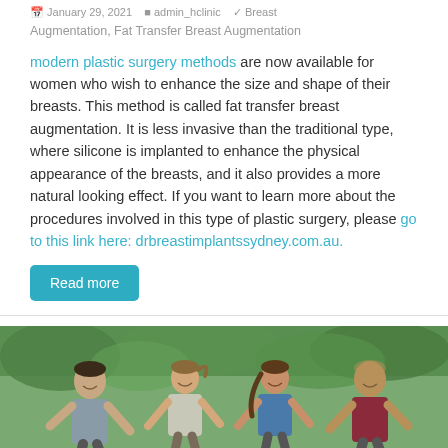January 29, 2021 · admin_hclinic · Breast Augmentation, Fat Transfer Breast Augmentation
modern plastic surgery methods are now available for women who wish to enhance the size and shape of their breasts. This method is called fat transfer breast augmentation. It is less invasive than the traditional type, where silicone is implanted to enhance the physical appearance of the breasts, and it also provides a more natural looking effect. If you want to learn more about the procedures involved in this type of plastic surgery, please go to this link here: drbreastimplantssydney.com.au.
Read more
[Figure (photo): Four adults (two men and two women) jogging outdoors in a green park setting, smiling]